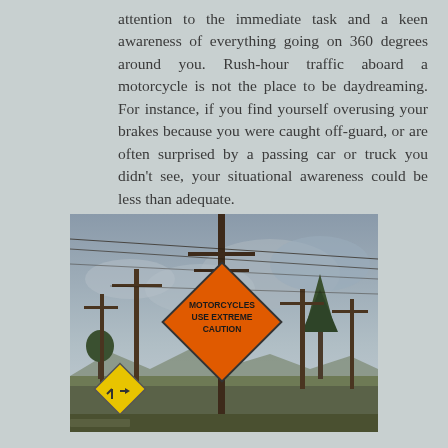attention to the immediate task and a keen awareness of everything going on 360 degrees around you. Rush-hour traffic aboard a motorcycle is not the place to be daydreaming. For instance, if you find yourself overusing your brakes because you were caught off-guard, or are often surprised by a passing car or truck you didn't see, your situational awareness could be less than adequate.
[Figure (photo): Outdoor photograph showing an orange diamond-shaped road sign reading 'MOTORCYCLES USE EXTREME CAUTION', mounted on a pole. Power lines and utility poles visible in background against an overcast sky. A yellow intersection warning sign is visible at lower left.]